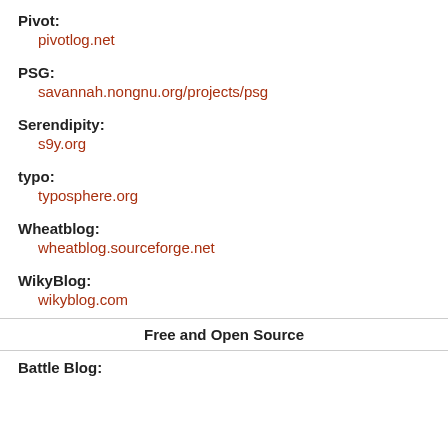Pivot:
pivotlog.net
PSG:
savannah.nongnu.org/projects/psg
Serendipity:
s9y.org
typo:
typosphere.org
Wheatblog:
wheatblog.sourceforge.net
WikyBlog:
wikyblog.com
Free and Open Source
Battle Blog: